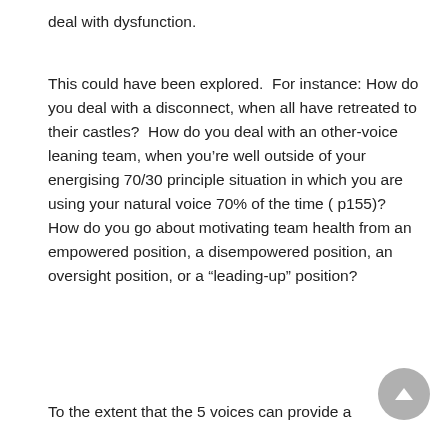deal with dysfunction.
This could have been explored.  For instance:  How do you deal with a disconnect, when all have retreated to their castles?  How do you deal with an other-voice leaning team, when you’re well outside of your energising 70/30 principle situation in which you are using your natural voice 70% of the time ( p155)?  How do you go about motivating team health from an empowered position, a disempowered position, an oversight position, or a “leading-up” position?
To the extent that the 5 voices can provide a